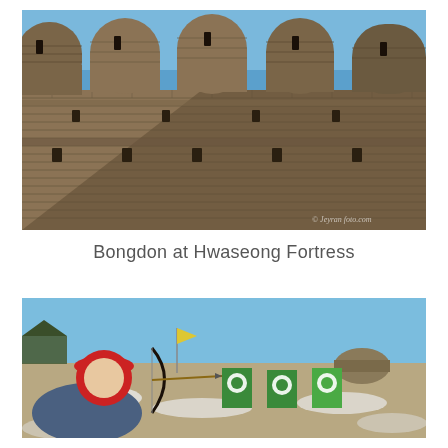[Figure (photo): Low-angle photograph of Hwaseong Fortress stone wall with rounded battlements (bongdon) against a clear blue sky. The stone masonry wall shows multiple tiers with arrow slits and five rounded turret-like protrusions at the top.]
Bongdon at Hwaseong Fortress
[Figure (photo): Person wearing a red beret aiming a traditional Korean bow at archery targets (green and white targets) in an open field with snow patches on the ground and a clear blue sky.]